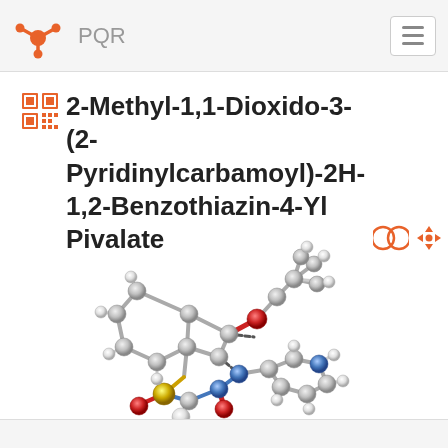PQR
2-Methyl-1,1-Dioxido-3-(2-Pyridinylcarbamoyl)-2H-1,2-Benzothiazin-4-Yl Pivalate
[Figure (illustration): 3D ball-and-stick molecular model of 2-Methyl-1,1-Dioxido-3-(2-Pyridinylcarbamoyl)-2H-1,2-Benzothiazin-4-Yl Pivalate showing gray carbon atoms, red oxygen atoms, blue nitrogen atoms, and yellow sulfur atoms]